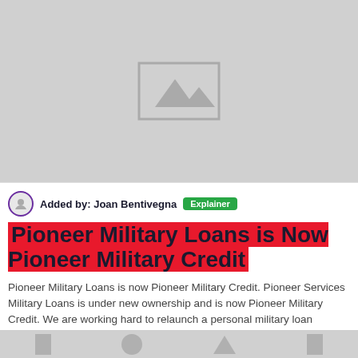[Figure (photo): Placeholder image (gray box with mountain icon) at top of page]
Added by: Joan Bentivegna  Explainer
Pioneer Military Loans is Now Pioneer Military Credit
Pioneer Military Loans is now Pioneer Military Credit. Pioneer Services Military Loans is under new ownership and is now Pioneer Military Credit. We are working hard to relaunch a personal military loan product for active duty and career retired military.
Url: https://pioneermilitarycredit.com/
| Monthly Visits | Alexa Rank | Popular in | Service Staus |
| --- | --- | --- | --- |
| 10729 | 2476809 | US | Up |
[Figure (photo): Placeholder icons strip at bottom of page]